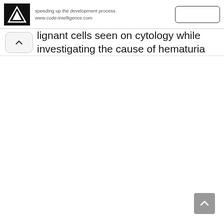speeding up the development process. www.code-intelligence.com
lignant cells seen on cytology while investigating the cause of hematuria